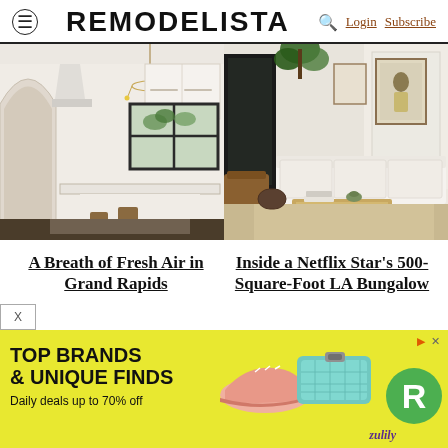REMODELISTA — Login Subscribe
[Figure (photo): White kitchen with arched doorway, island with barstools, black-framed window, and hanging gold chandelier]
[Figure (photo): Living room with white sofa, wooden coffee table, plants, framed art, and open glass door]
A Breath of Fresh Air in Grand Rapids
Inside a Netflix Star's 500-Square-Foot LA Bungalow
[Figure (infographic): Zulily advertisement: TOP BRANDS & UNIQUE FINDS — Daily deals up to 70% off, with shoe and wallet product images and green R logo]